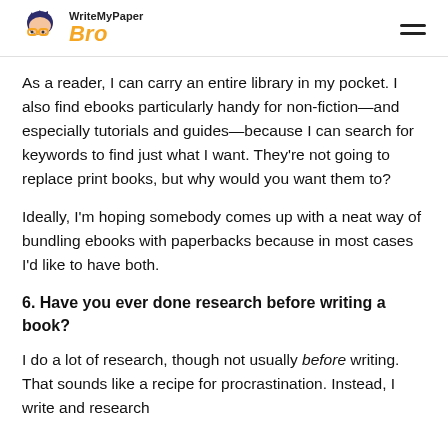WriteMyPaper Bro
As a reader, I can carry an entire library in my pocket. I also find ebooks particularly handy for non-fiction—and especially tutorials and guides—because I can search for keywords to find just what I want. They're not going to replace print books, but why would you want them to?
Ideally, I'm hoping somebody comes up with a neat way of bundling ebooks with paperbacks because in most cases I'd like to have both.
6. Have you ever done research before writing a book?
I do a lot of research, though not usually before writing. That sounds like a recipe for procrastination. Instead, I write and research